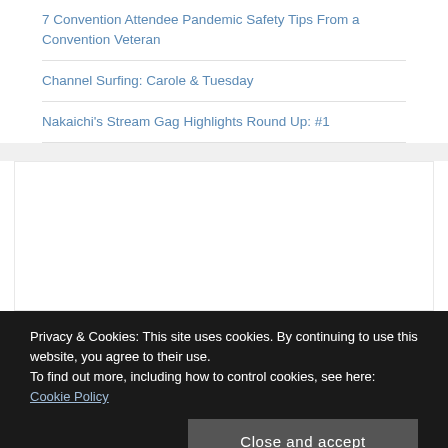7 Convention Attendee Pandemic Safety Tips From a Convention Veteran
Channel Surfing: Carole & Tuesday
Nakaichi's Stream Gag Highlights Round Up: #1
[Figure (other): White advertisement placeholder box]
Privacy & Cookies: This site uses cookies. By continuing to use this website, you agree to their use.
To find out more, including how to control cookies, see here: Cookie Policy
Close and accept